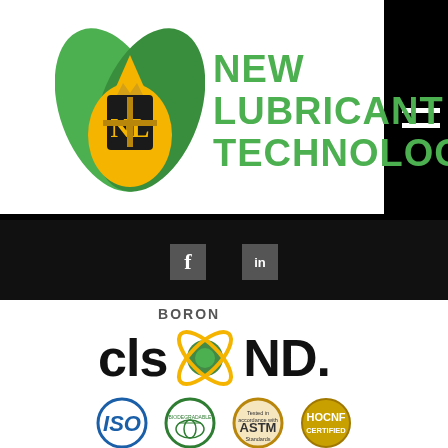[Figure (logo): New Lubricant Technology company logo with green leaf and golden oil drop icon, green bold text reading NEW LUBRICANT TECHNOLOGY]
[Figure (logo): Social media icons: Facebook (f) and LinkedIn (in) in gray square boxes on black navigation bar]
[Figure (logo): BORON CLS BOND product logo with atomic/boron sphere graphic in center, large bold black text]
[Figure (logo): Certification badges row 1: U.S. Department of Energy Argonne National Laboratory, 1991 R&D 100 Winner, 1996 R&D 100 Winner, U.S. Patent and Trademark Office seal]
[Figure (logo): Certification badges row 2: ISO globe logo, Biodegradable globe logo, Tested in accordance with ASTM Standards badge, HOCNF CERTIFIED badge]